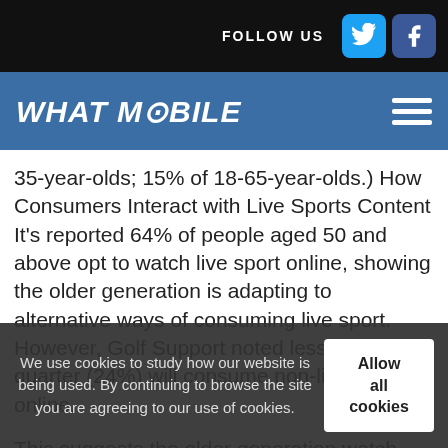FOLLOW US
WHAT MOBILE
35-year-olds; 15% of 18-65-year-olds.) How Consumers Interact with Live Sports Content It's reported 64% of people aged 50 and above opt to watch live sport online, showing the older generation is adapting to alternative ways of consuming live sport. However, Golf Support noted less than a quarter (24%) will consume non-live content online.

This suggests the older generation watch live sport online in the same way they do on traditional telly. They tune in to enjoy a specific match and watch the more live sport online are even greater people watch live sport online, an even greater propor
We use cookies to study how our website is being used. By continuing to browse the site you are agreeing to our use of cookies.